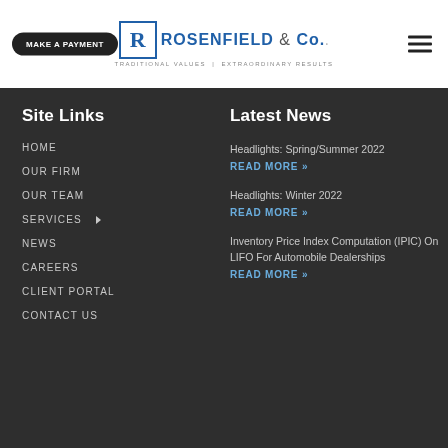[Figure (logo): Rosenfield & Co. logo with blue R in box, company name, tagline: Traditional Values | Extraordinary Results]
Site Links
HOME
OUR FIRM
OUR TEAM
SERVICES
NEWS
CAREERS
CLIENT PORTAL
CONTACT US
Latest News
Headlights: Spring/Summer 2022
READ MORE »
Headlights: Winter 2022
READ MORE »
Inventory Price Index Computation (IPIC) On LIFO For Automobile Dealerships
READ MORE »